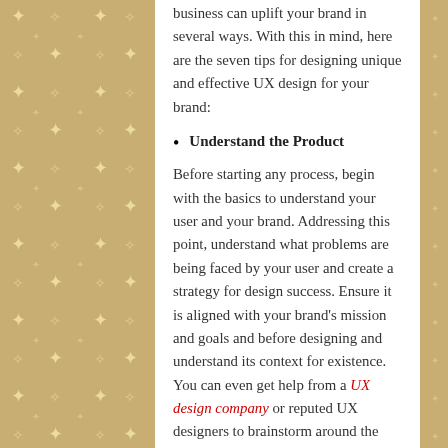business can uplift your brand in several ways. With this in mind, here are the seven tips for designing unique and effective UX design for your brand:
Understand the Product
Before starting any process, begin with the basics to understand your user and your brand. Addressing this point, understand what problems are being faced by your user and create a strategy for design success. Ensure it is aligned with your brand's mission and goals and before designing and understand its context for existence. You can even get help from a UX design company or reputed UX designers to brainstorm around the product at a high level. They can help you create an initial outline of the website's purpose and match the user and business needs.